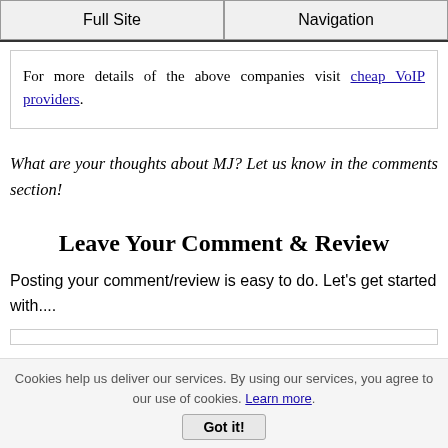Full Site | Navigation
For more details of the above companies visit cheap VoIP providers.
What are your thoughts about MJ? Let us know in the comments section!
Leave Your Comment & Review
Posting your comment/review is easy to do. Let's get started with....
Cookies help us deliver our services. By using our services, you agree to our use of cookies. Learn more. Got it!